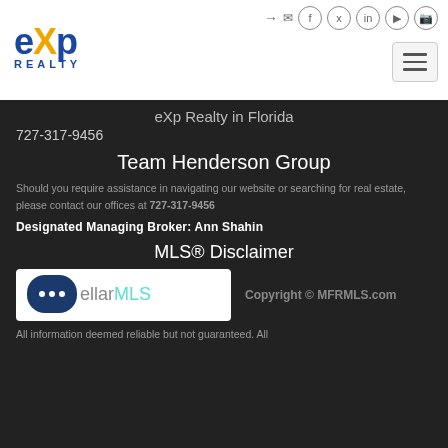[Figure (logo): eXp Realty logo — blue text with orange X]
Social icons and hamburger menu
eXp Realty in Florida
727-317-9456
Team Henderson Group
Should you require assistance in navigating our website or searching for real estate, please contact our offices at 727-317-9456
Designated Managing Broker: Ann Shahin
MLS® Disclaimer
[Figure (logo): Stellar MLS logo with chat bubble icon]
Copyright © MFRMLS.com
All information deemed reliable but not guaranteed. All